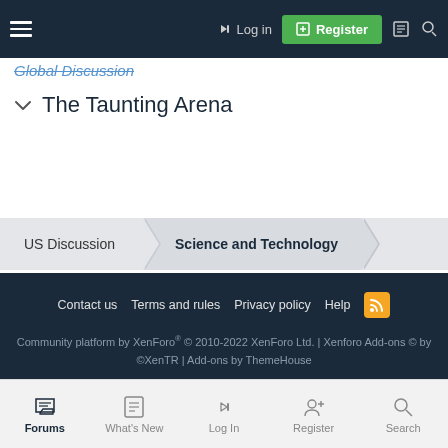Log in | Register
Global Discussion
The Taunting Arena
US Discussion > Science and Technology
Contact us  Terms and rules  Privacy policy  Help
Community platform by XenForo® © 2010-2022 XenForo Ltd. | Xenforo Add-ons © by ©XenTR | Add-ons by ThemeHouse
Forums  What's New  Log In  Register  Search